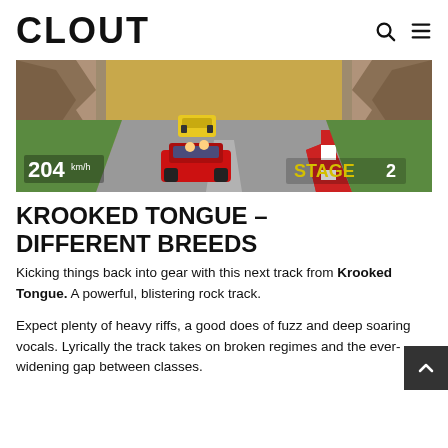CLOUT
[Figure (screenshot): Screenshot of a retro racing video game showing a red sports car in first person view on a track, with a yellow car ahead, rocky canyon walls on the sides, speed display showing 204 and STAGE 2 indicator.]
KROOKED TONGUE – DIFFERENT BREEDS
Kicking things back into gear with this next track from Krooked Tongue. A powerful, blistering rock track.
Expect plenty of heavy riffs, a good does of fuzz and deep soaring vocals. Lyrically the track takes on broken regimes and the ever-widening gap between classes.